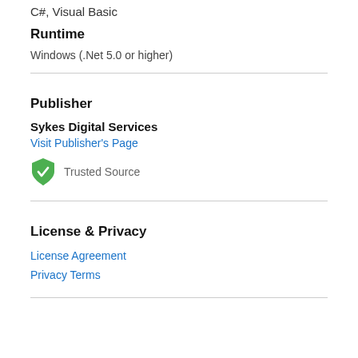C#, Visual Basic
Runtime
Windows (.Net 5.0 or higher)
Publisher
Sykes Digital Services
Visit Publisher's Page
Trusted Source
License & Privacy
License Agreement
Privacy Terms